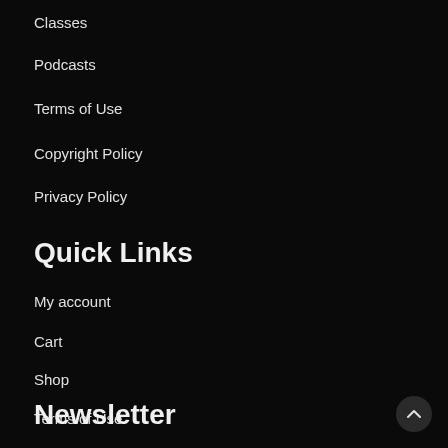Classes
Podcasts
Terms of Use
Copyright Policy
Privacy Policy
Quick Links
My account
Cart
Shop
Terms of Use
Newsletter